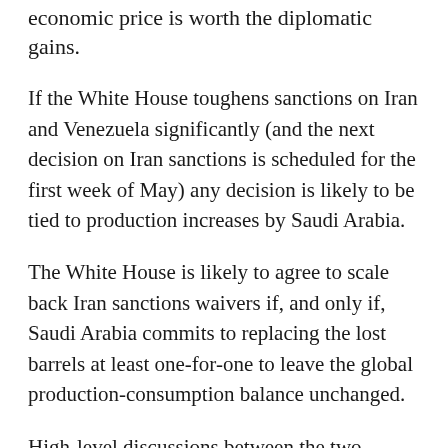economic price is worth the diplomatic gains.
If the White House toughens sanctions on Iran and Venezuela significantly (and the next decision on Iran sanctions is scheduled for the first week of May) any decision is likely to be tied to production increases by Saudi Arabia.
The White House is likely to agree to scale back Iran sanctions waivers if, and only if, Saudi Arabia commits to replacing the lost barrels at least one-for-one to leave the global production-consumption balance unchanged.
High-level discussions between the two countries over sanctions and production policy are likely to have begun already.
President Donald Trump spoke with Saudi Arabia's